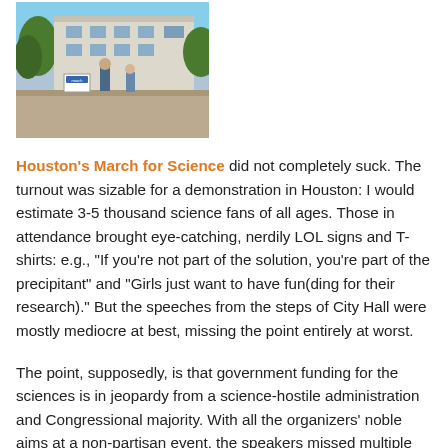[Figure (photo): Outdoor photo showing a public demonstration near a building, with trees and people visible.]
Houston's March for Science did not completely suck. The turnout was sizable for a demonstration in Houston: I would estimate 3-5 thousand science fans of all ages. Those in attendance brought eye-catching, nerdily LOL signs and T-shirts: e.g., "If you're not part of the solution, you're part of the precipitant" and "Girls just want to have fun(ding for their research)." But the speeches from the steps of City Hall were mostly mediocre at best, missing the point entirely at worst.
The point, supposedly, is that government funding for the sciences is in jeopardy from a science-hostile administration and Congressional majority. With all the organizers' noble aims at a non-partisan event, the speakers missed multiple opportunities to point out the adversary and tell the assembled thousands what they might do to overcome that adversary.